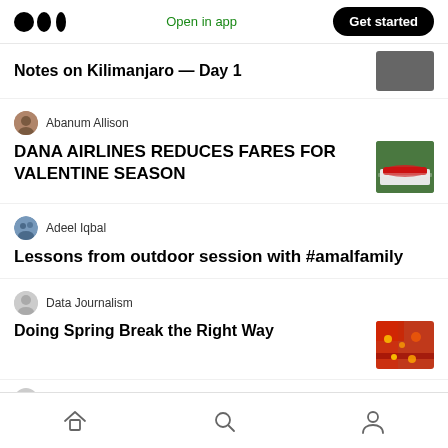Medium — Open in app | Get started
Notes on Kilimanjaro — Day 1
Abanum Allison
DANA AIRLINES REDUCES FARES FOR VALENTINE SEASON
Adeel Iqbal
Lessons from outdoor session with #amalfamily
Data Journalism
Doing Spring Break the Right Way
Home | Search | Profile